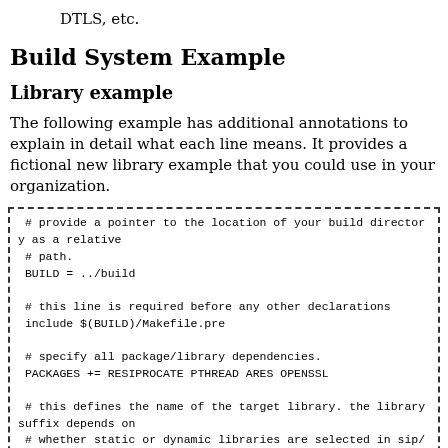DTLS, etc.
Build System Example
Library example
The following example has additional annotations to explain in detail what each line means. It provides a fictional new library example that you could use in your organization.
[Figure (other): Code block with dashed border containing Makefile/build system code snippet showing comments and build directives including BUILD, include, PACKAGES, TARGET_LIBRARY definitions and a list of C/C++ source files.]